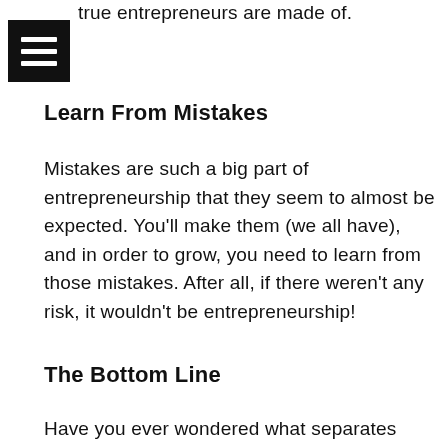true entrepreneurs are made of.
Learn From Mistakes
Mistakes are such a big part of entrepreneurship that they seem to almost be expected. You'll make them (we all have), and in order to grow, you need to learn from those mistakes. After all, if there weren't any risk, it wouldn't be entrepreneurship!
The Bottom Line
Have you ever wondered what separates